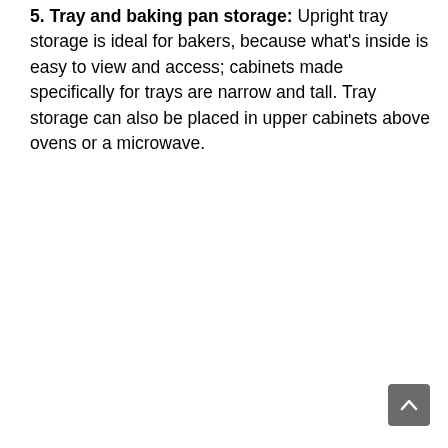5. Tray and baking pan storage: Upright tray storage is ideal for bakers, because what's inside is easy to view and access; cabinets made specifically for trays are narrow and tall. Tray storage can also be placed in upper cabinets above ovens or a microwave.